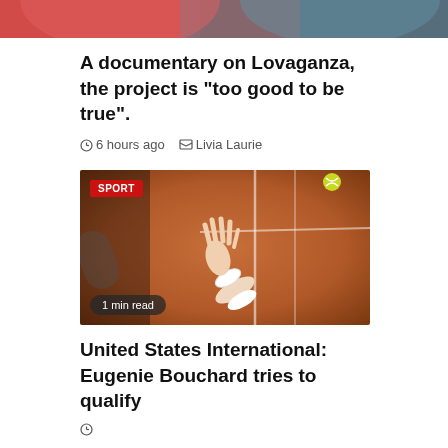[Figure (photo): Partial top of a photo showing a person in a red/pink outfit, cropped at top of page]
A documentary on Lovaganza, the project is “too good to be true”.
6 hours ago   Livia Laurie
[Figure (photo): Tennis player serving on a clay court, hand raised with racket, SPORT badge top-left, 1 min read badge bottom-left]
United States International: Eugenie Bouchard tries to qualify
metadata row (truncated at bottom of page)